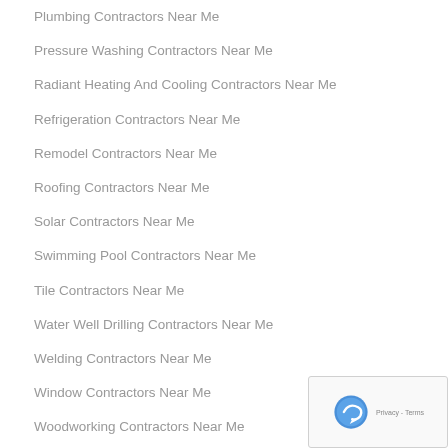Plumbing Contractors Near Me
Pressure Washing Contractors Near Me
Radiant Heating And Cooling Contractors Near Me
Refrigeration Contractors Near Me
Remodel Contractors Near Me
Roofing Contractors Near Me
Solar Contractors Near Me
Swimming Pool Contractors Near Me
Tile Contractors Near Me
Water Well Drilling Contractors Near Me
Welding Contractors Near Me
Window Contractors Near Me
Woodworking Contractors Near Me
[Figure (other): reCAPTCHA privacy and terms badge]